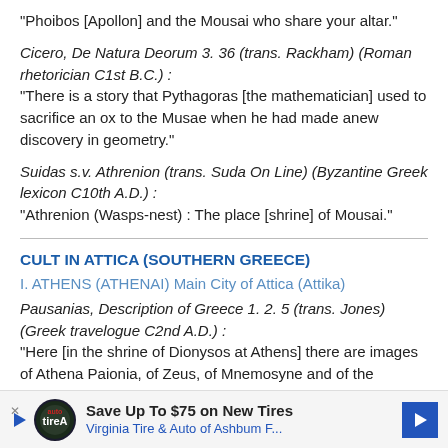"Phoibos [Apollon] and the Mousai who share your altar."
Cicero, De Natura Deorum 3. 36 (trans. Rackham) (Roman rhetorician C1st B.C.) :
"There is a story that Pythagoras [the mathematician] used to sacrifice an ox to the Musae when he had made anew discovery in geometry."
Suidas s.v. Athrenion (trans. Suda On Line) (Byzantine Greek lexicon C10th A.D.) :
"Athrenion (Wasps-nest) : The place [shrine] of Mousai."
CULT IN ATTICA (SOUTHERN GREECE)
I. ATHENS (ATHENAI) Main City of Attica (Attika)
Pausanias, Description of Greece 1. 2. 5 (trans. Jones) (Greek travelogue C2nd A.D.) :
"Here [in the shrine of Dionysos at Athens] there are images of Athena Paionia, of Zeus, of Mnemosyne and of the Mousai, an Apollon."
[Figure (other): Advertisement banner: Save Up To $75 on New Tires - Virginia Tire & Auto of Ashbum F...]